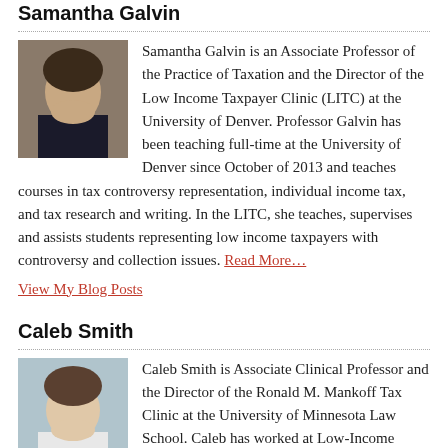Samantha Galvin
[Figure (photo): Headshot photo of Samantha Galvin]
Samantha Galvin is an Associate Professor of the Practice of Taxation and the Director of the Low Income Taxpayer Clinic (LITC) at the University of Denver. Professor Galvin has been teaching full-time at the University of Denver since October of 2013 and teaches courses in tax controversy representation, individual income tax, and tax research and writing. In the LITC, she teaches, supervises and assists students representing low income taxpayers with controversy and collection issues. Read More…
View My Blog Posts
Caleb Smith
[Figure (photo): Headshot photo of Caleb Smith]
Caleb Smith is Associate Clinical Professor and the Director of the Ronald M. Mankoff Tax Clinic at the University of Minnesota Law School. Caleb has worked at Low-Income Taxpayer Clinics on both coasts and the Midwest, most recently completing a fellowship at Harvard Law School's Federal Tax Clinic. Prior to law school Caleb was the Tax Program Manager at